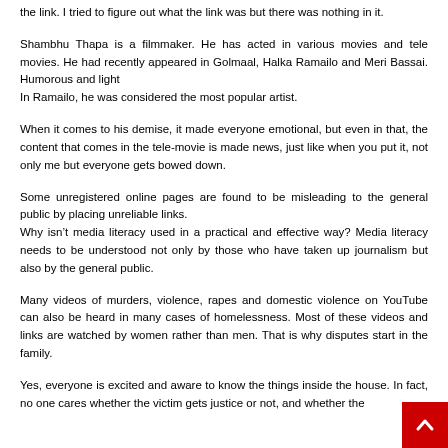the link. I tried to figure out what the link was but there was nothing in it.
Shambhu Thapa is a filmmaker. He has acted in various movies and tele movies. He had recently appeared in Golmaal, Halka Ramailo and Meri Bassai. Humorous and light
In Ramailo, he was considered the most popular artist.
When it comes to his demise, it made everyone emotional, but even in that, the content that comes in the tele-movie is made news, just like when you put it, not only me but everyone gets bowed down.
Some unregistered online pages are found to be misleading to the general public by placing unreliable links.
Why isn't media literacy used in a practical and effective way? Media literacy needs to be understood not only by those who have taken up journalism but also by the general public.
Many videos of murders, violence, rapes and domestic violence on YouTube can also be heard in many cases of homelessness. Most of these videos and links are watched by women rather than men. That is why disputes start in the family.
Yes, everyone is excited and aware to know the things inside the house. In fact, no one cares whether the victim gets justice or not, and whether the